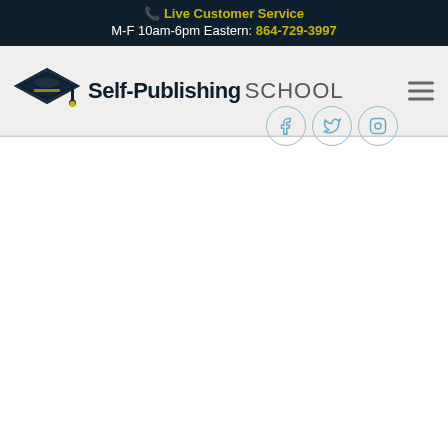📞 Live Customer Service
M-F 10am-6pm Eastern: 864-729-3997
[Figure (logo): Self-Publishing School logo with graduation cap icon and bold text reading 'Self-Publishing SCHOOL']